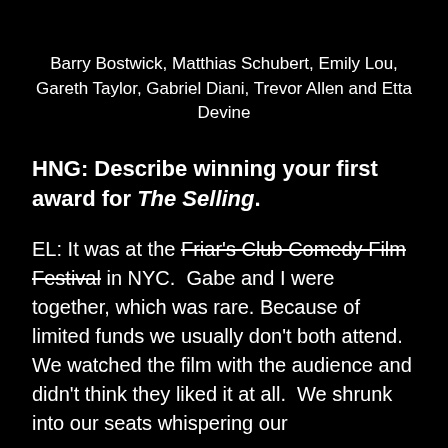Barry Bostwick, Matthias Schubert, Emily Lou, Gareth Taylor, Gabriel Diani, Trevor Allen and Etta Devine
HNG: Describe winning your first award for The Selling.
EL: It was at the Friar's Club Comedy Film Festival in NYC.  Gabe and I were together, which was rare. Because of limited funds we usually don't both attend.  We watched the film with the audience and didn't think they liked it at all.  We shrunk into our seats whispering our